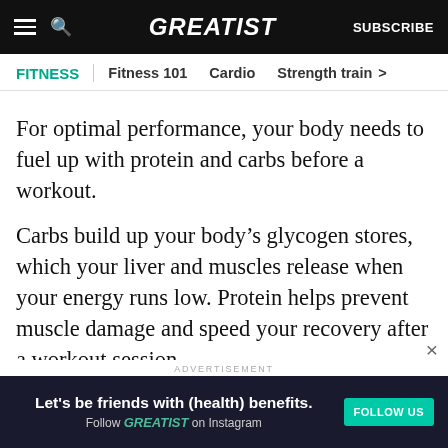GREATIST | SUBSCRIBE
FITNESS | Fitness 101  Cardio  Strength train >
For optimal performance, your body needs to fuel up with protein and carbs before a workout.
Carbs build up your body’s glycogen stores, which your liver and muscles release when your energy runs low. Protein helps prevent muscle damage and speed your recovery after a workout session.
Complex (aka slow-burning) carbs like oatmeal, vegetables, brown rice, and beans are best. Protein
ADVERTISEMENT | Let’s be friends with (health) benefits. Follow GREATIST on Instagram | FOLLOW US